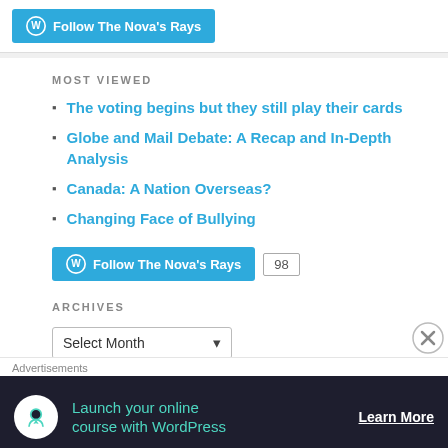[Figure (logo): Follow The Nova's Rays button at top]
MOST VIEWED
The voting begins but they still play their cards
Globe and Mail Debate: A Recap and In-Depth Analysis
Canada: A Nation Overseas?
Changing Face of Bullying
[Figure (other): Follow The Nova's Rays button with 98 followers count]
ARCHIVES
Select Month
Home
Advertisements
[Figure (other): Advertisement banner: Launch your online course with WordPress - Learn More]